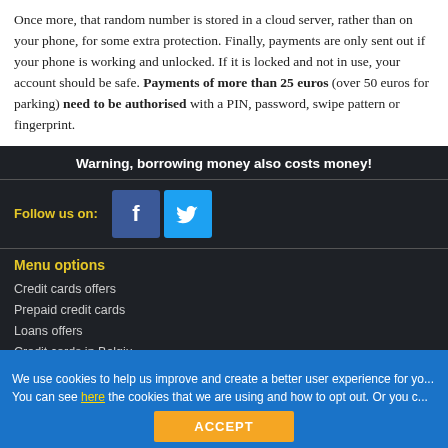Once more, that random number is stored in a cloud server, rather than on your phone, for some extra protection. Finally, payments are only sent out if your phone is working and unlocked. If it is locked and not in use, your account should be safe. Payments of more than 25 euros (over 50 euros for parking) need to be authorised with a PIN, password, swipe pattern or fingerprint.
Warning, borrowing money also costs money!
Follow us on:
[Figure (logo): Facebook logo icon (blue square with white f)]
[Figure (logo): Twitter logo icon (light blue square with white bird)]
Menu options
Credit cards offers
Prepaid credit cards
Loans offers
Credit cards in Belgium
We use cookies to help us improve and create a better user experience for you. You can see here the cookies that we are using and how to opt out. Or you c
ACCEPT